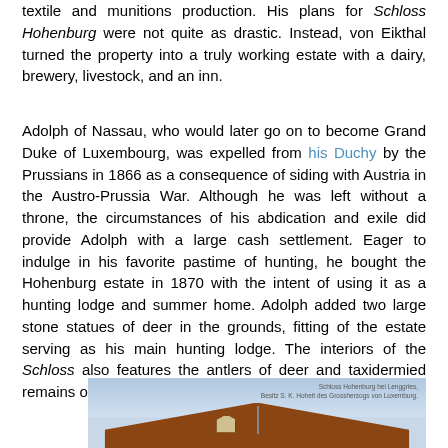textile and munitions production. His plans for Schloss Hohenburg were not quite as drastic. Instead, von Eikthal turned the property into a truly working estate with a dairy, brewery, livestock, and an inn.
Adolph of Nassau, who would later go on to become Grand Duke of Luxembourg, was expelled from his Duchy by the Prussians in 1866 as a consequence of siding with Austria in the Austro-Prussia War. Although he was left without a throne, the circumstances of his abdication and exile did provide Adolph with a large cash settlement. Eager to indulge in his favorite pastime of hunting, he bought the Hohenburg estate in 1870 with the intent of using it as a hunting lodge and summer home. Adolph added two large stone statues of deer in the grounds, fitting of the estate serving as his main hunting lodge. The interiors of the Schloss also features the antlers of deer and taxidermied remains of other animals which had been hunted there.
[Figure (photo): Historical postcard photograph of Schloss Hohenburg near Lenggries, showing the roofline and upper structure of the building with a red/brown roof and a flagpole, against a light sky. Caption text in the upper right reads: Schloss Hohenburg bei Lenggries, Besitz S. K. Hoheit des Grossherzogs von Luxemburg.]